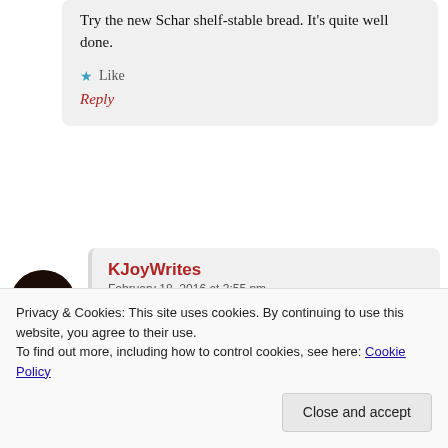Try the new Schar shelf-stable bread. It’s quite well done.
★ Like
Reply
KJoyWrites
February 18, 2016 at 3:55 pm
I will be looking out to try that bread. Thanks for the
Privacy & Cookies: This site uses cookies. By continuing to use this website, you agree to their use.
To find out more, including how to control cookies, see here: Cookie Policy
Close and accept